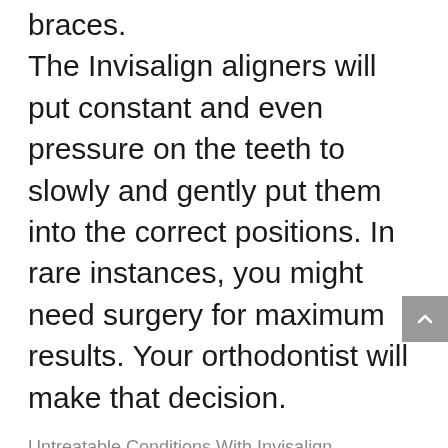braces. The Invisalign aligners will put constant and even pressure on the teeth to slowly and gently put them into the correct positions. In rare instances, you might need surgery for maximum results. Your orthodontist will make that decision.
Untreatable Conditions With Invisalign
There are a few things that Invisalign cannot help with. Genetic Factors like tooth size and shape cannot be fixed with Invisalign, nor by any other orthodontic treatments. Surgery, veneers, or dental reshaping are your